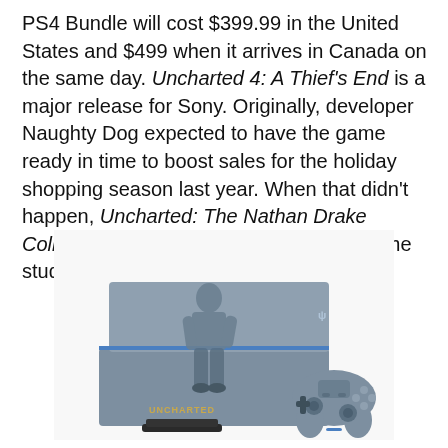PS4 Bundle will cost $399.99 in the United States and $499 when it arrives in Canada on the same day. Uncharted 4: A Thief's End is a major release for Sony. Originally, developer Naughty Dog expected to have the game ready in time to boost sales for the holiday shopping season last year. When that didn't happen, Uncharted: The Nathan Drake Collection, took the game's place, giving the studio more time to mature the game.
[Figure (photo): Photo of a limited edition Uncharted PS4 console (grey/blue color with Nathan Drake silhouette graphic) next to a matching DualShock 4 controller. The console has the UNCHARTED logo printed at the bottom.]